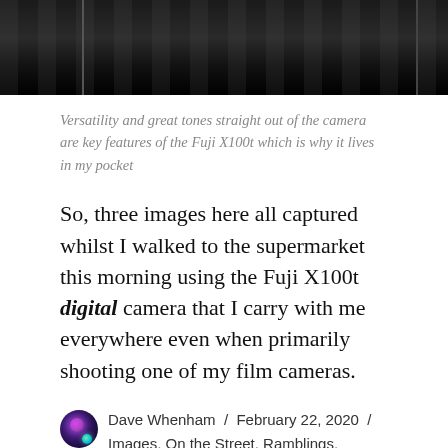[Figure (photo): Black and white photo of a brick wall, partially visible at the top of the page]
Versatility and great tones straight out of the camera are key features of the Fuji X100t which is why it lives in my pocket
So, three images here all captured whilst I walked to the supermarket this morning using the Fuji X100t digital camera that I carry with me everywhere even when primarily shooting one of my film cameras.
Dave Whenham / February 22, 2020 / Images, On the Street, Ramblings, Thoughts / black & white, Elland, Fuji, Fuji X100T, Mono, photography, urban, X100T / Leave a comment